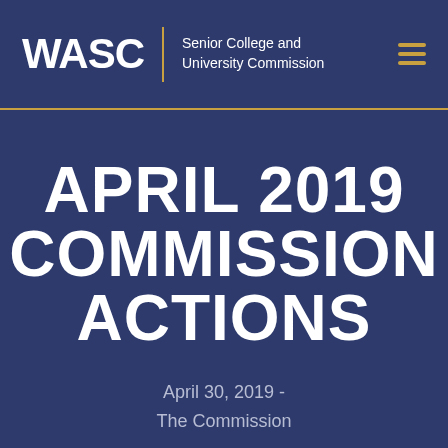WASC | Senior College and University Commission
APRIL 2019 COMMISSION ACTIONS
April 30, 2019 - The Commission